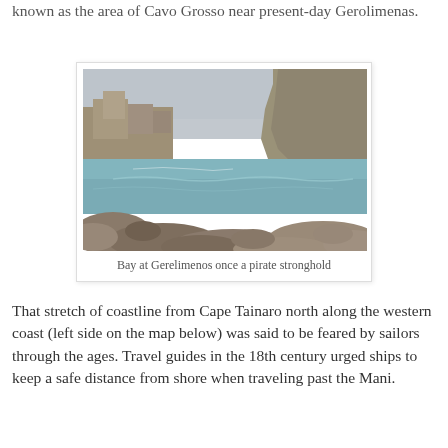known as the area of Cavo Grosso near present-day Gerolimenas.
[Figure (photo): Photograph of a rocky bay at Gerelimenos showing stone buildings on the left shore, calm water in the middle, and steep rocky cliffs on the right under an overcast sky. Rocky shoreline in the foreground.]
Bay at Gerelimenos once a pirate stronghold
That stretch of coastline from Cape Tainaro north along the western coast (left side on the map below) was said to be feared by sailors through the ages. Travel guides in the 18th century urged ships to keep a safe distance from shore when traveling past the Mani.